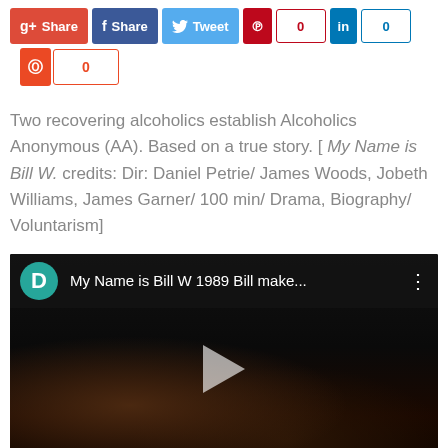[Figure (screenshot): Social media share buttons: Google+ Share, Facebook Share, Twitter Tweet, Pinterest (0), LinkedIn (0), StumbleUpon (0)]
Two recovering alcoholics establish Alcoholics Anonymous (AA). Based on a true story. [ My Name is Bill W. credits: Dir: Daniel Petrie/ James Woods, Jobeth Williams, James Garner/ 100 min/ Drama, Biography/ Voluntarism]
[Figure (screenshot): Embedded YouTube video thumbnail showing 'My Name is Bill W 1989 Bill make...' with a play button overlay, dark film still of two figures]